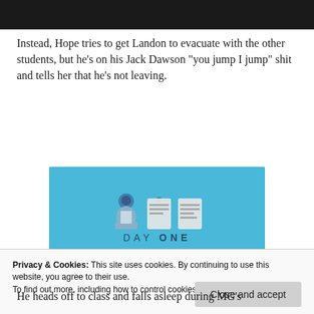[Figure (photo): Dark image at top of page, appears to be a screenshot from a video or TV show]
Instead, Hope tries to get Landon to evacuate with the other students, but he’s on his Jack Dawson “you jump I jump” shit and tells her that he’s not leaving.
[Figure (illustration): Day One journaling app advertisement with blue background, illustration of person with notebook icons, text reading DAY ONE - The only journaling app you'll ever need.]
Privacy & Cookies: This site uses cookies. By continuing to use this website, you agree to their use.
To find out more, including how to control cookies, see here: Cookie Policy
He heads off to class and falls asleep during MG’s